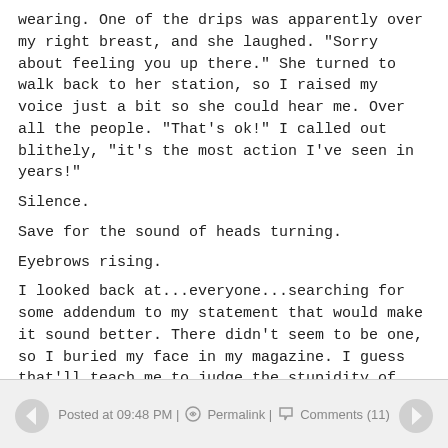wearing. One of the drips was apparently over my right breast, and she laughed. "Sorry about feeling you up there." She turned to walk back to her station, so I raised my voice just a bit so she could hear me. Over all the people. "That's ok!" I called out blithely, "it's the most action I've seen in years!"

Silence.

Save for the sound of heads turning.

Eyebrows rising.

I looked back at...everyone...searching for some addendum to my statement that would make it sound better. There didn't seem to be one, so I buried my face in my magazine. I guess that'll teach me to judge the stupidity of others, huh?
Posted at 09:48 PM | Permalink | Comments (11)